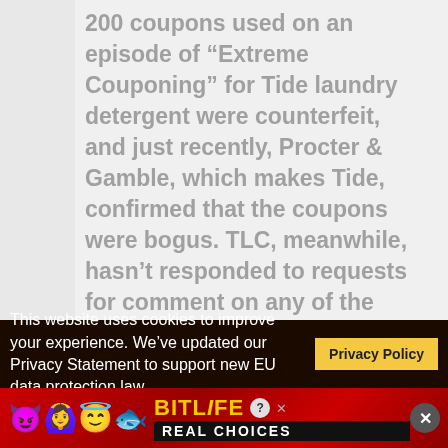200 coupons used on an episode of “Extreme Couponing” for Tide laundry detergent were counterfeit, and just recently, Procter & Gamble, which makes Tide, confirmed that the coupons were bogus. TLC, meanwhile, hasn’t responded to requests for comment on any of the counterfeit coupon allegations.

Maybe there could be a new show called “Extreme...
This website uses cookies to improve your experience. We’ve updated our Privacy Statement to support new EU data protection law. Privacy Policy
[Figure (infographic): BitLife advertisement banner with colorful emojis (devil, person with arms raised, winking face with halo, sperm emoji) on red background, BitLife logo in yellow, question mark icon, close button, and REAL CHOICES text in black bar]